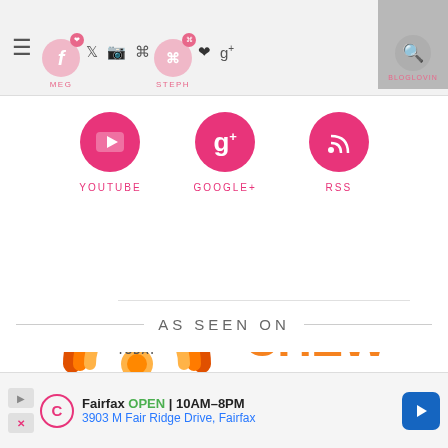[Figure (screenshot): Navigation bar with hamburger menu, social media icons for MEG and STEPH profiles, and a search button with BLOGLOVIN label]
[Figure (infographic): Three pink circular social media icons: YOUTUBE, GOOGLE+, RSS]
AS SEEN ON
[Figure (logo): TODAY show logo with orange rainbow arc graphic and TODAY text, and The CHEW logo in orange and green]
Fairfax  OPEN  10AM–8PM  3903 M Fair Ridge Drive, Fairfax